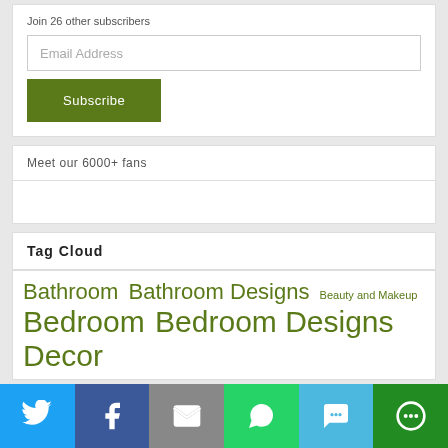Join 26 other subscribers
Email Address
Subscribe
Meet our 6000+ fans
Tag Cloud
Bathroom Bathroom Designs Beauty and Makeup Bedroom Bedroom Designs Decor
[Figure (infographic): Social sharing bar with Twitter, Facebook, Email, WhatsApp, SMS, and More buttons]